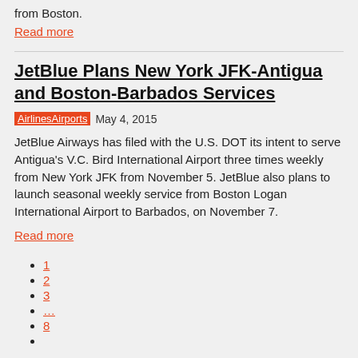from Boston.
Read more
JetBlue Plans New York JFK-Antigua and Boston-Barbados Services
AirlinesAirports  May 4, 2015
JetBlue Airways has filed with the U.S. DOT its intent to serve Antigua's V.C. Bird International Airport three times weekly from New York JFK from November 5. JetBlue also plans to launch seasonal weekly service from Boston Logan International Airport to Barbados, on November 7.
Read more
1
2
3
…
8